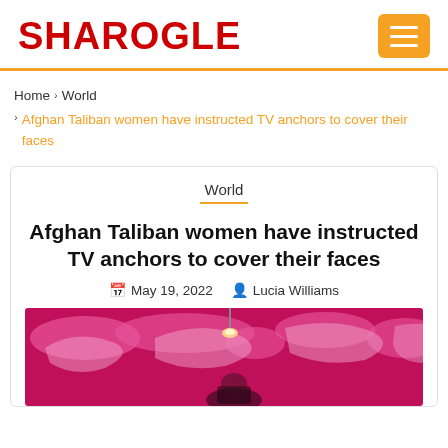SHAROGLE
Home › World › Afghan Taliban women have instructed TV anchors to cover their faces
World
Afghan Taliban women have instructed TV anchors to cover their faces
May 19, 2022  Lucia Williams
[Figure (photo): Pink-walled TV studio with world map backdrop, a person visible at the bottom]